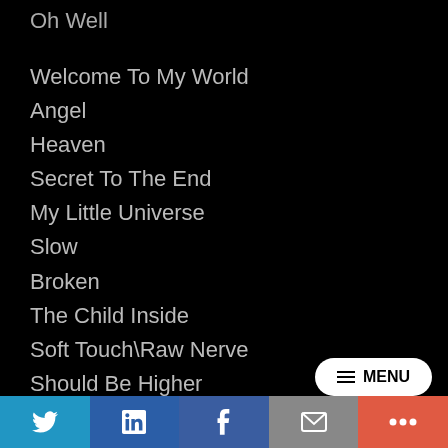Oh Well
Welcome To My World
Angel
Heaven
Secret To The End
My Little Universe
Slow
Broken
The Child Inside
Soft Touch\Raw Nerve
Should Be Higher
Alone
MENU | Twitter | LinkedIn | Facebook | Email | More